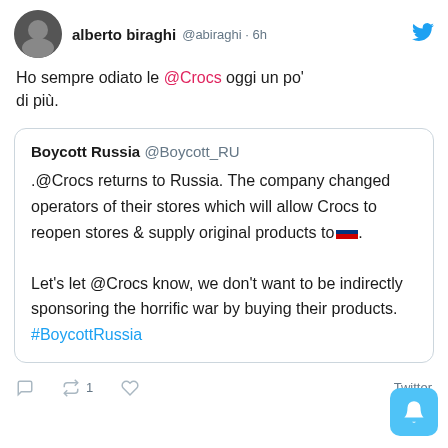alberto biraghi @abiraghi · 6h
Ho sempre odiato le @Crocs oggi un po' di più.
Boycott Russia @Boycott_RU
.@Crocs returns to Russia. The company changed operators of their stores which will allow Crocs to reopen stores & supply original products to 🇷🇺.

Let's let @Crocs know, we don't want to be indirectly sponsoring the horrific war by buying their products. #BoycottRussia
Twitter